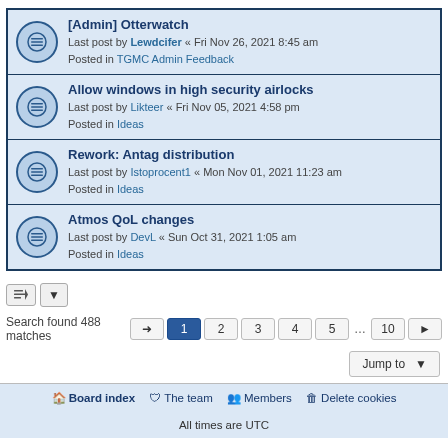[Admin] Otterwatch — Last post by Lewdcifer « Fri Nov 26, 2021 8:45 am — Posted in TGMC Admin Feedback
Allow windows in high security airlocks — Last post by Likteer « Fri Nov 05, 2021 4:58 pm — Posted in Ideas
Rework: Antag distribution — Last post by Istoprocent1 « Mon Nov 01, 2021 11:23 am — Posted in Ideas
Atmos QoL changes — Last post by DevL « Sun Oct 31, 2021 1:05 am — Posted in Ideas
Search found 488 matches
Jump to
Board index | The team | Members | Delete cookies | All times are UTC
Powered by phpBB® Forum Software © phpBB Limited | SE Square by PhpBB3 BBCodes phpBB Two Factor Authentication © paul999
Privacy | Terms